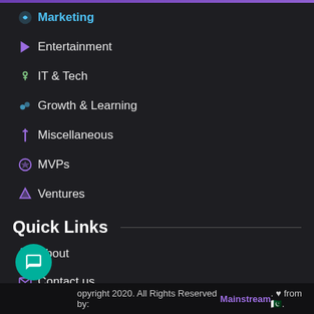Marketing
Entertainment
IT & Tech
Growth & Learning
Miscellaneous
MVPs
Ventures
Quick Links
About
Contact us
Panel of writers
Copyright 2020. All Rights Reserved by: Mainstream. ♥ from 🇵🇰.